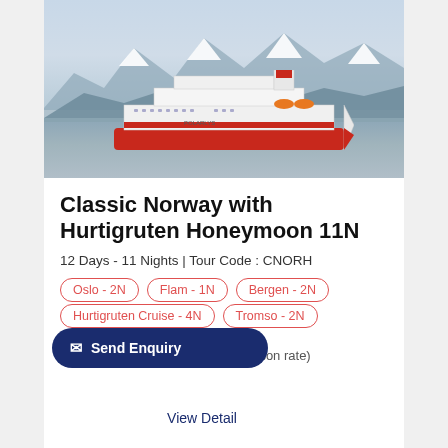[Figure (photo): A large red and white cruise ship (Hurtigruten) sailing on calm water with snow-capped mountains in the background under a partly cloudy sky.]
Classic Norway with Hurtigruten Honeymoon 11N
12 Days - 11 Nights | Tour Code : CNORH
Oslo - 2N
Flam - 1N
Bergen - 2N
Hurtigruten Cruise - 4N
Tromso - 2N
₹ 3,55,000/- (per person rate)
Send Enquiry
View Detail